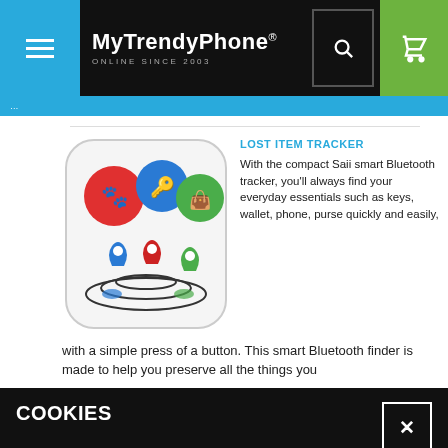MyTrendyPhone® ONLINE SINCE 2003
LOST ITEM TRACKER
With the compact Saii smart Bluetooth tracker, you'll always find your everyday essentials such as keys, wallet, phone, purse quickly and easily, with a simple press of a button. This smart Bluetooth finder is made to help you preserve all the things you
COOKIES
MyTrendyPhone uses cookies in order to provide you with even better service. If you continue to use our website, you agree to this.
MOTION ALERT
The Saii iTrack Motion will alert you when your